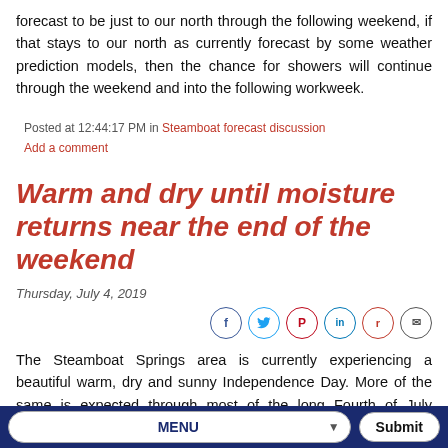forecast to be just to our north through the following weekend, if that stays to our north as currently forecast by some weather prediction models, then the chance for showers will continue through the weekend and into the following workweek.
Posted at 12:44:17 PM in Steamboat forecast discussion
Add a comment
Warm and dry until moisture returns near the end of the weekend
Thursday, July 4, 2019
[Figure (infographic): Social sharing icons: Facebook, Twitter, Pinterest, LinkedIn, Reddit, Email]
The Steamboat Springs area is currently experiencing a beautiful warm, dry and sunny Independence Day. More of the same is expected through most of the long Fourth of July weekend before precipitation chances increase for later Sunday and Monday. The chances
MENU  Submit